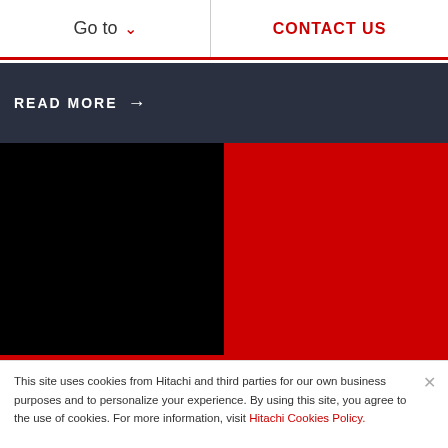Go to   CONTACT US
READ MORE →
[Figure (other): Dark navy/grey photographic image band behind READ MORE button]
[Figure (other): Two-panel color block: left panel black, right panel red]
This site uses cookies from Hitachi and third parties for our own business purposes and to personalize your experience. By using this site, you agree to the use of cookies. For more information, visit Hitachi Cookies Policy.